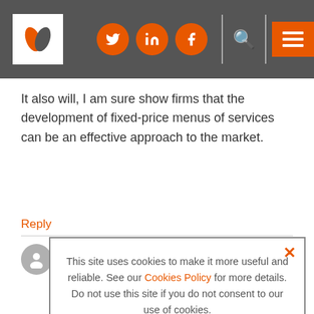Navigation header with logo, social icons (Twitter, LinkedIn, Facebook), search, and menu button
It also will, I am sure show firms that the development of fixed-price menus of services can be an effective approach to the market.
Reply
Eric Golding says:
[Figure (screenshot): Cookie consent overlay popup with text: 'This site uses cookies to make it more useful and reliable. See our Cookies Policy for more details. Do not use this site if you do not consent to our use of cookies.' with I CONSENT and SEE COOKIE POLICY buttons]